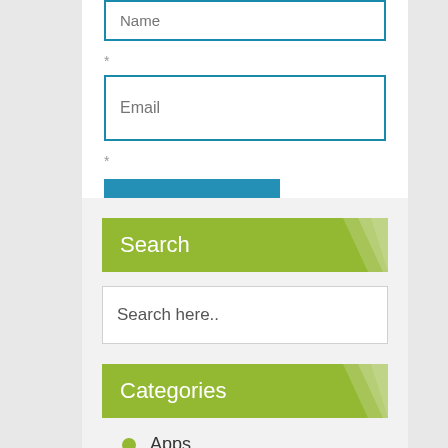[Figure (screenshot): Partially visible Name text input field with teal border]
*
[Figure (screenshot): Email text input field with teal border and placeholder text 'Email']
*
[Figure (screenshot): POST COMMENT button in teal/blue color]
Search
[Figure (screenshot): Search input field with placeholder text 'Search here..']
Categories
Apps